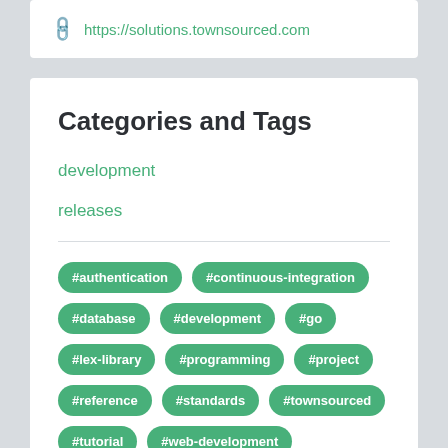https://solutions.townsourced.com
Categories and Tags
development
releases
#authentication
#continuous-integration
#database
#development
#go
#lex-library
#programming
#project
#reference
#standards
#townsourced
#tutorial
#web-development